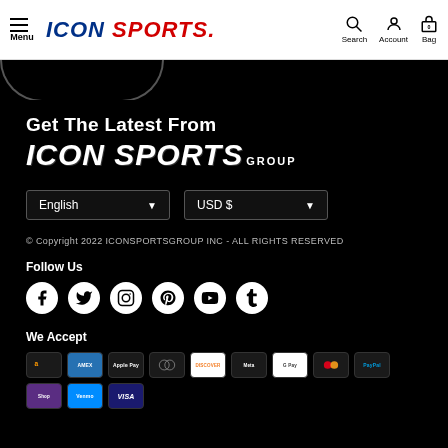Menu | ICON SPORTS | Search | Account | Bag
Get The Latest From
ICON SPORTS GROUP
English (dropdown) | USD $ (dropdown)
© Copyright 2022 ICONSPORTSGROUP INC - ALL RIGHTS RESERVED
Follow Us
[Figure (infographic): Social media icons: Facebook, Twitter, Instagram, Pinterest, YouTube, Tumblr]
We Accept
[Figure (infographic): Payment method icons: Amazon, Amex, Apple Pay, Diners, Discover, Meta, Google Pay, Mastercard, PayPal, ShopPay, Venmo, Visa]